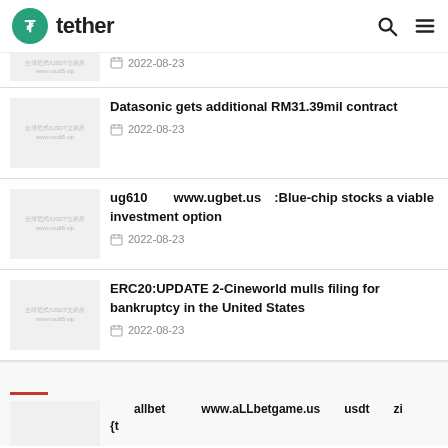tether
2022-08-23
Datasonic gets additional RM31.39mil contract
2022-08-23
ug610　　www.ugbet.us　:Blue-chip stocks a viable investment option
2022-08-23
ERC20:UPDATE 2-Cineworld mulls filing for bankruptcy in the United States
2022-08-23
allbet　　　www.aLLbetgame.us　　usdt　　zi　　　　{t